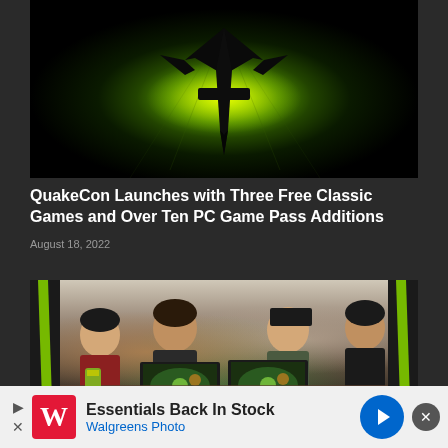[Figure (photo): Quake game logo — a dark silhouette of a sword/cross symbol with wing-like shapes, glowing with bright yellow-green light against a dark green radial background with subtle circuit-like patterns]
QuakeCon Launches with Three Free Classic Games and Over Ten PC Game Pass Additions
August 18, 2022
[Figure (photo): Four young people sitting around a table with laptops open, screens showing a video game (appears to be a MOBA/League of Legends style game). NVIDIA branding diagonal stripes visible on left and right edges. Indoor setting with blurred background.]
Essentials Back In Stock
Walgreens Photo